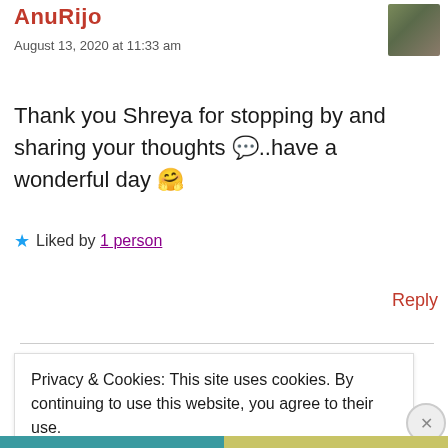AnuRijo
August 13, 2020 at 11:33 am
Thank you Shreya for stopping by and sharing your thoughts 💬..have a wonderful day 🤗
★ Liked by 1 person
Reply
Privacy & Cookies: This site uses cookies. By continuing to use this website, you agree to their use.
To find out more, including how to control cookies, see here: Cookie Policy
Close and accept